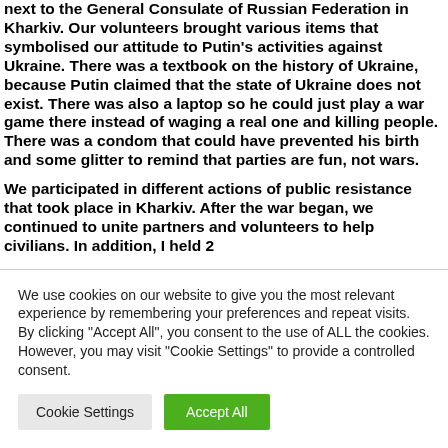next to the General Consulate of Russian Federation in Kharkiv. Our volunteers brought various items that symbolised our attitude to Putin's activities against Ukraine. There was a textbook on the history of Ukraine, because Putin claimed that the state of Ukraine does not exist. There was also a laptop so he could just play a war game there instead of waging a real one and killing people. There was a condom that could have prevented his birth and some glitter to remind that parties are fun, not wars.
We participated in different actions of public resistance that took place in Kharkiv. After the war began, we continued to unite partners and volunteers to help civilians. In addition, I held 2
We use cookies on our website to give you the most relevant experience by remembering your preferences and repeat visits. By clicking "Accept All", you consent to the use of ALL the cookies. However, you may visit "Cookie Settings" to provide a controlled consent.